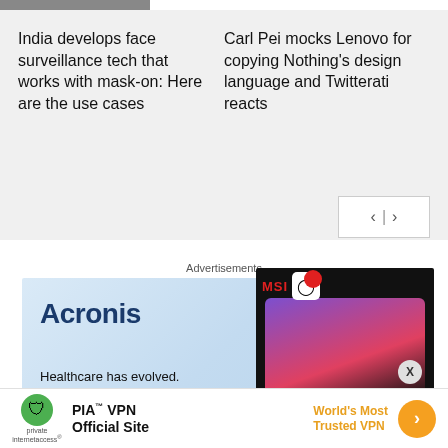India develops face surveillance tech that works with mask-on: Here are the use cases
Carl Pei mocks Lenovo for copying Nothing's design language and Twitterati reacts
Advertisements
[Figure (screenshot): Acronis advertisement banner with blue gradient background, Acronis logo, and tagline 'Healthcare has evolved. Your IT should too']
[Figure (screenshot): MSI laptop product advertisement showing laptop with price ₹1,33,689.99]
[Figure (screenshot): PIA VPN advertisement banner: 'PIA VPN Official Site - World's Most Trusted VPN']